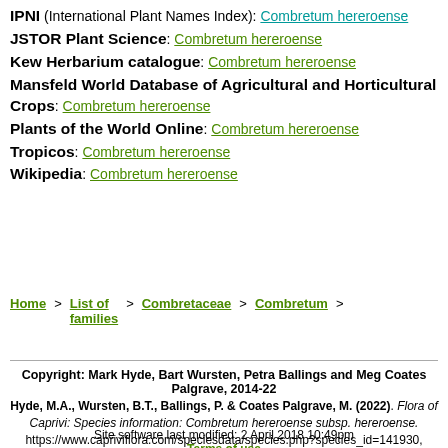IPNI (International Plant Names Index): Combretum hereroense
JSTOR Plant Science: Combretum hereroense
Kew Herbarium catalogue: Combretum hereroense
Mansfeld World Database of Agricultural and Horticultural Crops: Combretum hereroense
Plants of the World Online: Combretum hereroense
Tropicos: Combretum hereroense
Wikipedia: Combretum hereroense
Home > List of families > Combretaceae > Combretum >
Copyright: Mark Hyde, Bart Wursten, Petra Ballings and Meg Coates Palgrave, 2014-22
Hyde, M.A., Wursten, B.T., Ballings, P. & Coates Palgrave, M. (2022). Flora of Caprivi: Species information: Combretum hereroense subsp. hereroense. https://www.capriviflora.com/speciesdata/species.php?species_id=141930, retrieved 28 August 2022
Site software last modified: 2 April 2018 10:49pm  Terms of use